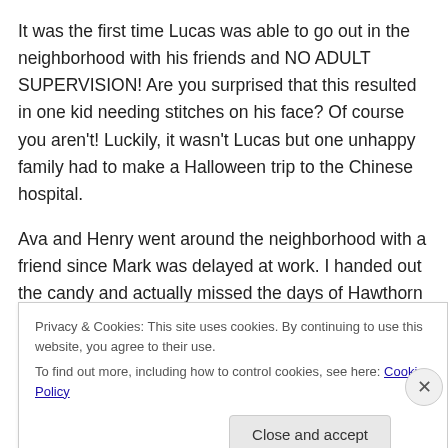It was the first time Lucas was able to go out in the neighborhood with his friends and NO ADULT SUPERVISION!  Are you surprised that this resulted in one kid needing stitches on his face?  Of course you aren't!  Luckily, it wasn't Lucas but one unhappy family had to make a Halloween trip to the Chinese hospital.
Ava and Henry went around the neighborhood with a friend since Mark was delayed at work.  I handed out the candy and actually missed the days of Hawthorn Road
Privacy & Cookies: This site uses cookies. By continuing to use this website, you agree to their use.
To find out more, including how to control cookies, see here: Cookie Policy
Close and accept